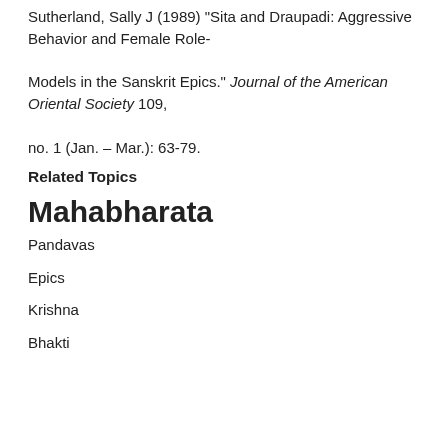Sutherland, Sally J (1989) "Sita and Draupadi: Aggressive Behavior and Female Role-

Models in the Sanskrit Epics." Journal of the American Oriental Society 109,

no. 1 (Jan. – Mar.): 63-79.
Related Topics
Mahabharata
Pandavas
Epics
Krishna
Bhakti